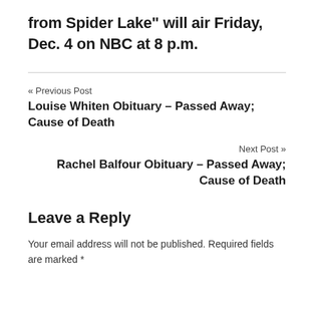from Spider Lake" will air Friday, Dec. 4 on NBC at 8 p.m.
« Previous Post
Louise Whiten Obituary – Passed Away; Cause of Death
Next Post »
Rachel Balfour Obituary – Passed Away; Cause of Death
Leave a Reply
Your email address will not be published. Required fields are marked *